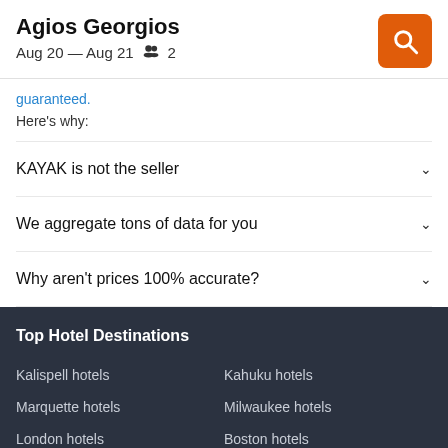Agios Georgios
Aug 20 — Aug 21   👥 2
guaranteed.
Here's why:
KAYAK is not the seller
We aggregate tons of data for you
Why aren't prices 100% accurate?
Top Hotel Destinations
Kalispell hotels
Kahuku hotels
Marquette hotels
Milwaukee hotels
London hotels
Boston hotels
Las Vegas hotels
Laughlin hotels